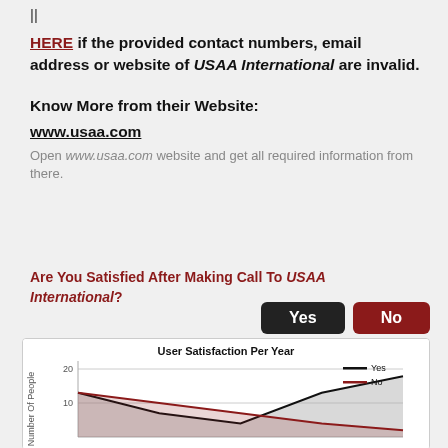||
HERE if the provided contact numbers, email address or website of USAA International are invalid.
Know More from their Website:
www.usaa.com
Open www.usaa.com website and get all required information from there.
Are You Satisfied After Making Call To USAA International?
[Figure (line-chart): User Satisfaction Per Year]